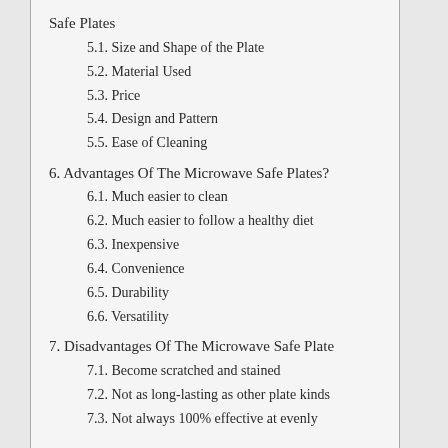Safe Plates
5.1. Size and Shape of the Plate
5.2. Material Used
5.3. Price
5.4. Design and Pattern
5.5. Ease of Cleaning
6. Advantages Of The Microwave Safe Plates?
6.1. Much easier to clean
6.2. Much easier to follow a healthy diet
6.3. Inexpensive
6.4. Convenience
6.5. Durability
6.6. Versatility
7. Disadvantages Of The Microwave Safe Plate
7.1. Become scratched and stained
7.2. Not as long-lasting as other plate kinds
7.3. Not always 100% effective at evenly